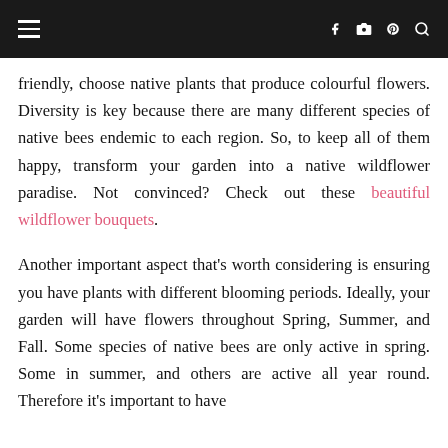[navigation bar with hamburger menu and social icons: f, camera, p, search]
friendly, choose native plants that produce colourful flowers. Diversity is key because there are many different species of native bees endemic to each region. So, to keep all of them happy, transform your garden into a native wildflower paradise. Not convinced? Check out these beautiful wildflower bouquets.
Another important aspect that's worth considering is ensuring you have plants with different blooming periods. Ideally, your garden will have flowers throughout Spring, Summer, and Fall. Some species of native bees are only active in spring. Some in summer, and others are active all year round. Therefore it's important to have